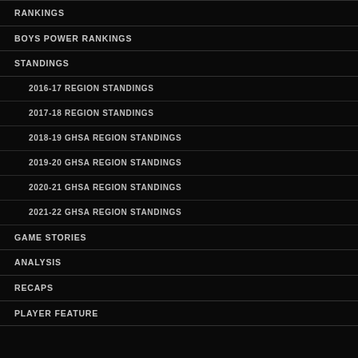RANKINGS
BOYS POWER RANKINGS
STANDINGS
2016-17 REGION STANDINGS
2017-18 REGION STANDINGS
2018-19 GHSA REGION STANDINGS
2019-20 GHSA REGION STANDINGS
2020-21 GHSA REGION STANDINGS
2021-22 GHSA REGION STANDINGS
GAME STORIES
ANALYSIS
RECAPS
PLAYER FEATURE